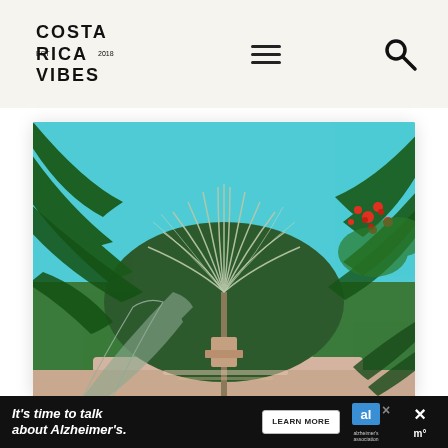COSTA RICA VIBES (logo with hamburger menu and search icon)
[Figure (photo): Tropical garden scene with large palm fronds and fan palms in the foreground, lush green tropical vegetation, red flowers on the right, bright turquoise sky visible through the canopy, and a light pink stone or concrete pool ledge at the bottom.]
It's time to talk about Alzheimer's. LEARN MORE [Alzheimer's Association ad banner]